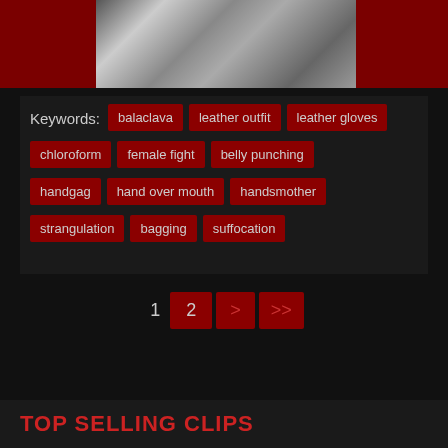[Figure (photo): Two people in black clothing and balaclava in a fighting/grappling pose against a white background]
Keywords: balaclava  leather outfit  leather gloves  chloroform  female fight  belly punching  handgag  hand over mouth  handsmother  strangulation  bagging  suffocation
1  2  >  >>
TOP SELLING CLIPS